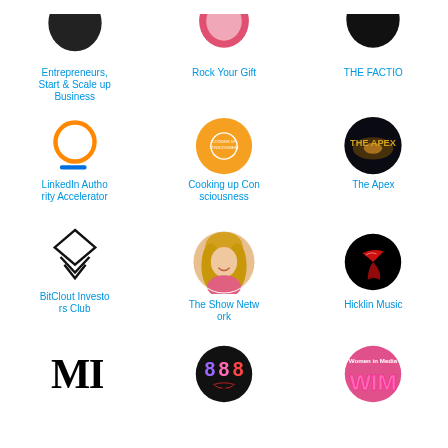[Figure (logo): Entrepreneurs, Start & Scale up Business logo (partial, top cropped)]
Entrepreneurs, Start & Scale up Business
[Figure (logo): Rock Your Gift logo (partial, top cropped)]
Rock Your Gift
[Figure (logo): THE FACTIO logo (partial, top cropped)]
THE FACTIO
[Figure (logo): LinkedIn Authority Accelerator logo - orange circle with blue underline bar]
LinkedIn Authority Accelerator
[Figure (logo): Cooking up Consciousness orange circular logo]
Cooking up Consciousness
[Figure (logo): The Apex dark circular logo with galaxy and text THE APEX]
The Apex
[Figure (logo): BitClout Investors Club diamond/gem outline logo]
BitClout Investors Club
[Figure (photo): The Show Network - circular photo of blonde woman smiling]
The Show Network
[Figure (logo): Hicklin Music black circular logo with red bird/flag shape]
Hicklin Music
[Figure (logo): MI logo partial - black letters M I]
[Figure (logo): 888 logo - black circle with 888 and lips graphic]
[Figure (logo): Women in Media WIM logo - pink circular with text]